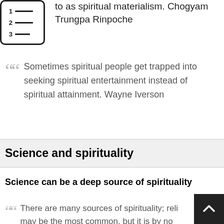[Figure (other): Table of contents icon: numbered list icon with rows 1, 2, 3 and horizontal lines, inside a rounded square border]
to as spiritual materialism. Chogyam Trungpa Rinpoche
Sometimes spiritual people get trapped into seeking spiritual entertainment instead of spiritual attainment. Wayne Iverson
Science and spirituality
Science can be a deep source of spirituality
There are many sources of spirituality; reli may be the most common, but it is by no